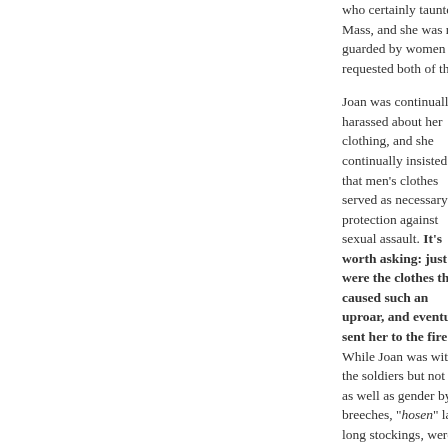who certainly taunted Mass, and she was n guarded by women in requested both of tho
Joan was continually harassed about her clothing, and she continually insisted that men's clothes served as necessary protection against sexual assault. It's worth asking: just wha were the clothes that caused such an uproar, and eventuall sent her to the fire? While Joan was with the soldiers but not a as well as gender by breeches, "hosen" la long stockings, were